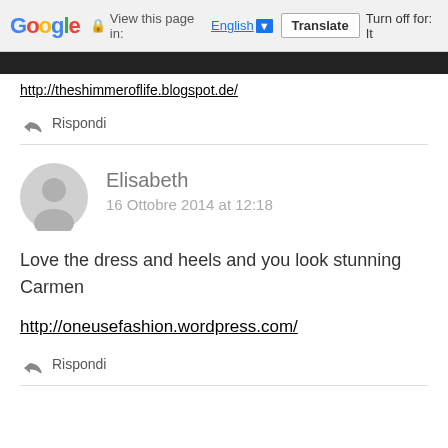Google | View this page in: English | Translate | Turn off for: It
http://theshimmeroflife.blogspot.de/
Rispondi
Elisabeth
16 Ottobre 2014 at 12:18
Love the dress and heels and you look stunning Carmen
http://oneusefashion.wordpress.com/
Rispondi